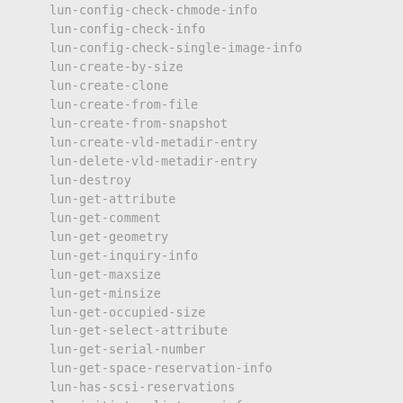lun-config-check-chmode-info
lun-config-check-info
lun-config-check-single-image-info
lun-create-by-size
lun-create-clone
lun-create-from-file
lun-create-from-snapshot
lun-create-vld-metadir-entry
lun-delete-vld-metadir-entry
lun-destroy
lun-get-attribute
lun-get-comment
lun-get-geometry
lun-get-inquiry-info
lun-get-maxsize
lun-get-minsize
lun-get-occupied-size
lun-get-select-attribute
lun-get-serial-number
lun-get-space-reservation-info
lun-has-scsi-reservations
lun-initiator-list-map-info
lun-initiator-logged-in
lun-list-info
lun-map
lun-map-list-info
lun-move
lun-offline
lun-online